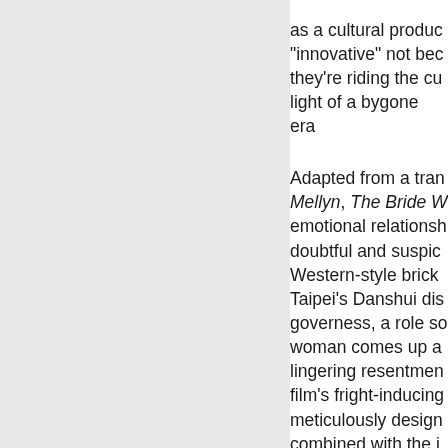as a cultural product, "innovative" not because they're riding the cutting light of a bygone era. Adapted from a translation Mellyn, The Bride W... emotional relationships doubtful and suspicious Western-style brick Taipei's Danshui district governess, a role so... woman comes up against lingering resentment film's fright-inducing meticulously designed combined with the images, echoing